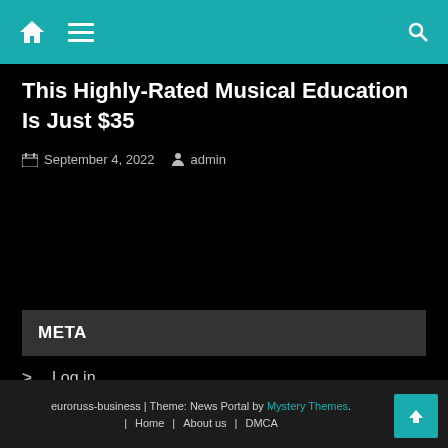Home | Menu | Search
This Highly-Rated Musical Education Is Just $35
September 4, 2022 admin
META
Log in
Entries feed
Comments feed
WordPress.org
euroruss-business | Theme: News Portal by Mystery Themes. | Home | About us | DMCA